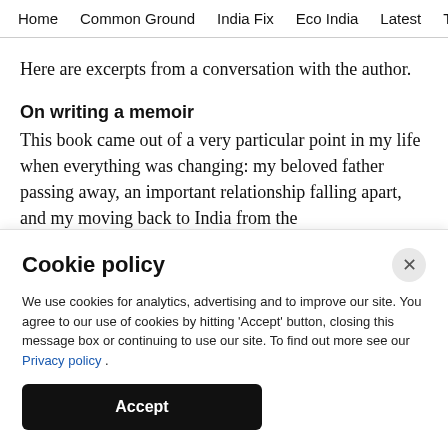Home   Common Ground   India Fix   Eco India   Latest   Th
Here are excerpts from a conversation with the author.
On writing a memoir
This book came out of a very particular point in my life when everything was changing: my beloved father passing away, an important relationship falling apart, and my moving back to India from the
Cookie policy
We use cookies for analytics, advertising and to improve our site. You agree to our use of cookies by hitting 'Accept' button, closing this message box or continuing to use our site. To find out more see our Privacy policy .
Accept